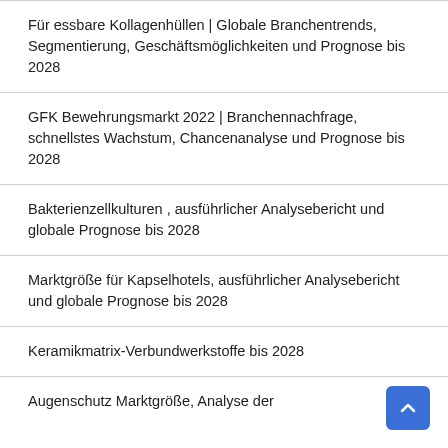Für essbare Kollagenhüllen | Globale Branchentrends, Segmentierung, Geschäftsmöglichkeiten und Prognose bis 2028
GFK Bewehrungsmarkt 2022 | Branchennachfrage, schnellstes Wachstum, Chancenanalyse und Prognose bis 2028
Bakterienzellkulturen , ausführlicher Analysebericht und globale Prognose bis 2028
Marktgröße für Kapselhotels, ausführlicher Analysebericht und globale Prognose bis 2028
Keramikmatrix-Verbundwerkstoffe bis 2028
Augenschutz Marktgröße, Analyse der